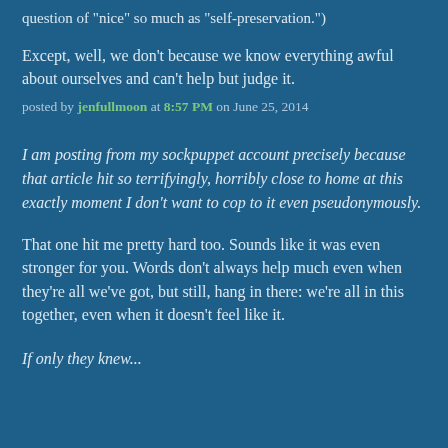question of "nice" so much as "self-preservation.")
Except, well, we don't because we know everything awful about ourselves and can't help but judge it.
posted by jenfullmoon at 8:57 PM on June 25, 2014
I am posting from my sockpuppet account precisely because that article hit so terrifyingly, horribly close to home at this exactly moment I don't want to cop to it even pseudonymously.
That one hit me pretty hard too. Sounds like it was even stronger for you. Words don't always help much even when they're all we've got, but still, hang in there: we're all in this together, even when it doesn't feel like it.
If only they knew...